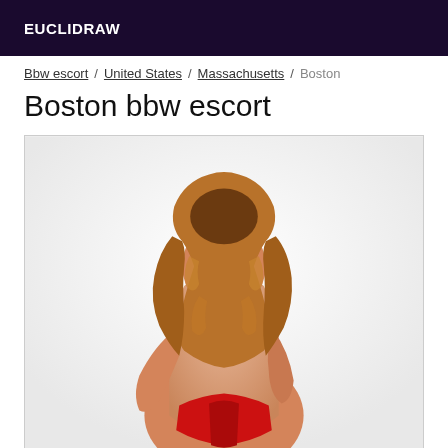EUCLIDRAW
Bbw escort / United States / Massachusetts / Boston
Boston bbw escort
[Figure (photo): Woman photographed from behind with long curly blonde/auburn hair, wearing a red swimsuit/lingerie, posed against a white/light background]